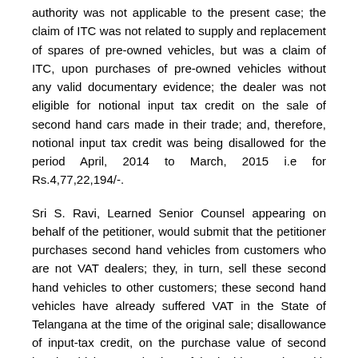authority was not applicable to the present case; the claim of ITC was not related to supply and replacement of spares of pre-owned vehicles, but was a claim of ITC, upon purchases of pre-owned vehicles without any valid documentary evidence; the dealer was not eligible for notional input tax credit on the sale of second hand cars made in their trade; and, therefore, notional input tax credit was being disallowed for the period April, 2014 to March, 2015 i.e for Rs.4,77,22,194/-.
Sri S. Ravi, Learned Senior Counsel appearing on behalf of the petitioner, would submit that the petitioner purchases second hand vehicles from customers who are not VAT dealers; they, in turn, sell these second hand vehicles to other customers; these second hand vehicles have already suffered VAT in the State of Telangana at the time of the original sale; disallowance of input-tax credit, on the purchase value of second hand vehicles, results in unfair double taxation with cascading effect; the assessing authority failed to consider the documentary proof submitted by the petitioner, in their reply to the show cause notice, for claiming notional input tax credit on the sale of second hand cars; as per Rule 20(3)(a), documentary evidence is required only to find out the purchase price actually paid at the time of purchase by the VAT dealer; rejection of the